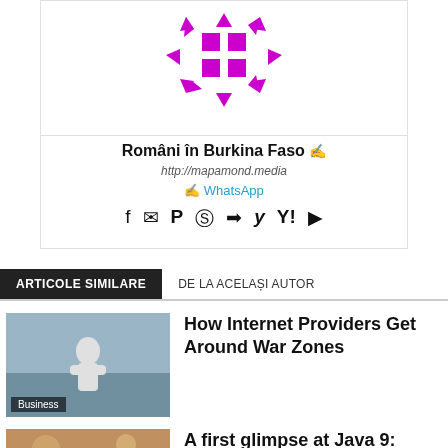[Figure (logo): Purple/magenta geometric logo with arrows pointing outward from a grid of four squares]
Români în Burkina Faso ✍
http://mapamond.media
✍ WhatsApp
Social icons: facebook, email, paypal, skype, telegram, twitter, yahoo, youtube
ARTICOLE SIMILARE | DE LA ACELAȘI AUTOR
[Figure (photo): Person sitting outdoors, cityscape background, Business category label]
How Internet Providers Get Around War Zones
[Figure (photo): Colorful abstract or nature photo]
A first glimpse at Java 9: Early access